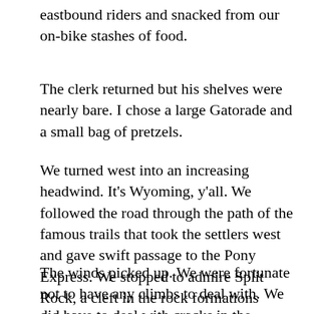eastbound riders and snacked from our on-bike stashes of food.
The clerk returned but his shelves were nearly bare. I chose a large Gatorade and a small bag of pretzels.
We turned west into an increasing headwind. It's Wyoming, y'all. We followed the road through the path of the famous trails that took the settlers west and gave swift passage to the Pony Express. We stopped to admire Split Rock, a cleft in the rock formations overlooking the trails that was a landmark for travelers of old.
The winds picked up. We were fortunate not to have any climbs to deal with. We did have to deal with cracks in the pavement that were sealed with tar. They caught my wheel often but my only option was